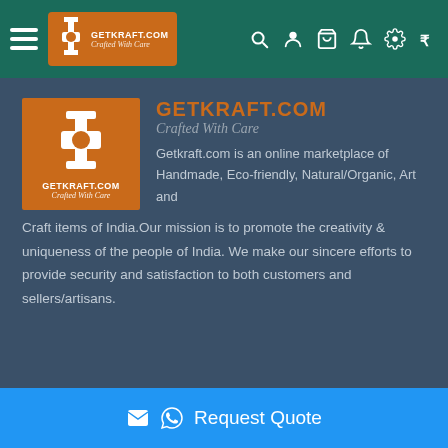Getkraft.com — Crafted With Care (navigation header bar)
[Figure (logo): Getkraft.com logo: orange square with white spool/tool icon, text GETKRAFT.COM and Crafted With Care]
Getkraft.com is an online marketplace of Handmade, Eco-friendly, Natural/Organic, Art and Craft items of India.Our mission is to promote the creativity & uniqueness of the people of India. We make our sincere efforts to provide security and satisfaction to both customers and sellers/artisans.
✉ © Request Quote